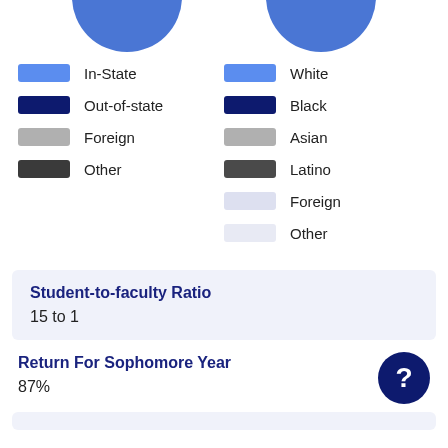[Figure (other): Top halves of two pie charts visible]
In-State
Out-of-state
Foreign
Other
White
Black
Asian
Latino
Foreign
Other
Student-to-faculty Ratio
15 to 1
Return For Sophomore Year
87%